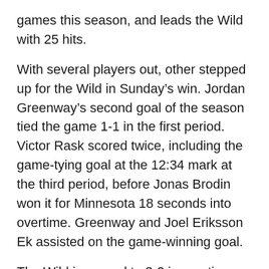games this season, and leads the Wild with 25 hits.
With several players out, other stepped up for the Wild in Sunday's win. Jordan Greenway's second goal of the season tied the game 1-1 in the first period. Victor Rask scored twice, including the game-tying goal at the 12:34 mark at the third period, before Jonas Brodin won it for Minnesota 18 seconds into overtime. Greenway and Joel Eriksson Ek assisted on the game-winning goal.
The Wild improved to 3-0 in overtime games this season, and 6-4 with Sunday's win. They also finished their first six-game home stand 3-3. Ten games into the season, they're the No. 3 team in the Honda West with 12 points, one point behind Colorado and St. Louis.  The Wild now has two games against the Avalanche in Colorado, Tuesday and Thursday night.